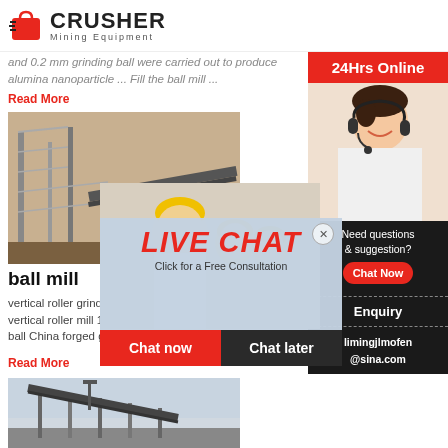[Figure (logo): Crusher Mining Equipment logo with red shopping bag icon]
and 0.2 mm grinding ball were carried out to produce alumina nanoparticle ... Fill the ball mill ...
Read More
[Figure (photo): Ball mill industrial machinery at a mining site]
ball mill
[Figure (photo): Workers in yellow hard hats at a construction/mining site with Live Chat overlay]
LIVE CHAT
Click for a Free Consultation
Chat now
Chat later
vertical roller grinding machine 1 tph – LFC. Apr... vertical roller mill 1 tph,vertical roller grinding m... ,ball .... ball China forged grinding ...
Read More
[Figure (photo): Conveyor belt structure at mining/quarry facility]
24Hrs Online
[Figure (photo): Female customer service agent with headset]
Need questions & suggestion?
Chat Now
Enquiry
limingjlmofen@sina.com